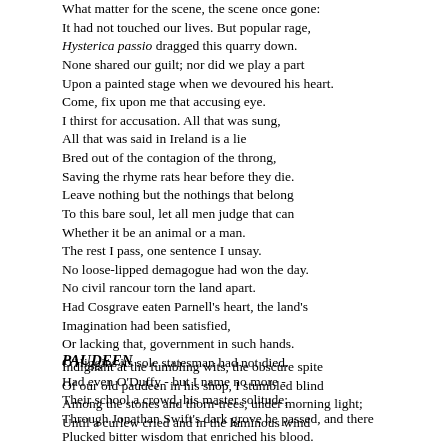What matter for the scene, the scene once gone:
It had not touched our lives. But popular rage,
Hysterica passio dragged this quarry down.
None shared our guilt; nor did we play a part
Upon a painted stage when we devoured his heart.
Come, fix upon me that accusing eye.
I thirst for accusation. All that was sung,
All that was said in Ireland is a lie
Bred out of the contagion of the throng,
Saving the rhyme rats hear before they die.
Leave nothing but the nothings that belong
To this bare soul, let all men judge that can
Whether it be an animal or a man.
The rest I pass, one sentence I unsay.
No loose-lipped demagogue had won the day.
No civil rancour torn the land apart.
Had Cosgrave eaten Parnell's heart, the land's
Imagination had been satisfied,
Or lacking that, government in such hands.
O'Higgins its sole statesman had not died.
Had even O'Duffy - but I name no more -
Their school a crowd, his master solitude;
Through Jonathan Swift's dark grove he passed, and there
Plucked bitter wisdom that enriched his blood.
PAUDEEN
Indignant at the fumbling wits, the obscure spite
Of our old paudeen in his shop, I stumbled blind
Among the stones and thorn-trees, under morning light;
Until a curlew cried and in the luminous wind